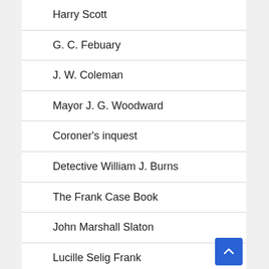Harry Scott
G. C. Febuary
J. W. Coleman
Mayor J. G. Woodward
Coroner's inquest
Detective William J. Burns
The Frank Case Book
John Marshall Slaton
Lucille Selig Frank